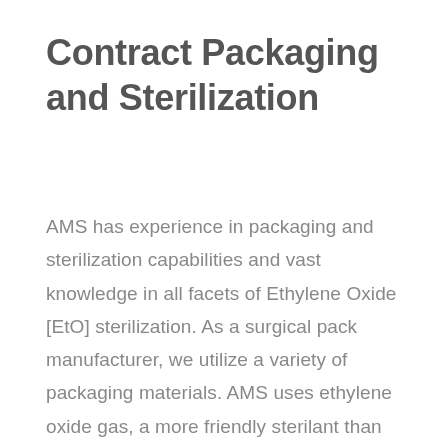Contract Packaging and Sterilization
AMS has experience in packaging and sterilization capabilities and vast knowledge in all facets of Ethylene Oxide [EtO] sterilization. As a surgical pack manufacturer, we utilize a variety of packaging materials. AMS uses ethylene oxide gas, a more friendly sterilant than gamma sterilization, which can make certain